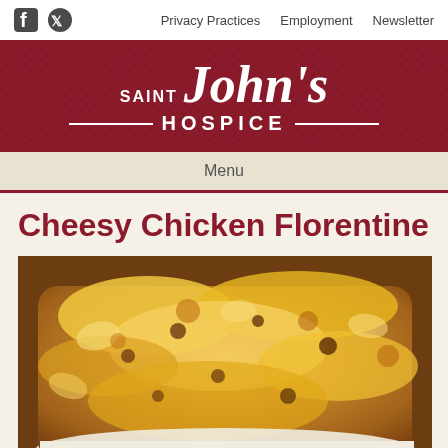Facebook | Twitter | Privacy Practices | Employment | Newsletter
[Figure (logo): Saint John's Hospice logo — white serif italic text on dark red textured background with horizontal lines flanking HOSPICE]
Menu
Cheesy Chicken Florentine
[Figure (photo): A baked casserole dish of cheesy chicken florentine — pasta shells with ground meat covered in melted golden-brown cheese, served in a white ceramic baking dish]